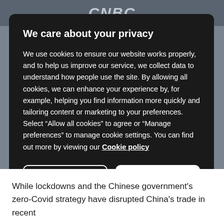CNBC
We care about your privacy
We use cookies to ensure our website works properly, and to help us improve our service, we collect data to understand how people use the site. By allowing all cookies, we can enhance your experience by, for example, helping you find information more quickly and tailoring content or marketing to your preferences. Select “Allow all cookies” to agree or “Manage preferences” to manage cookie settings. You can find out more by viewing our Cookie policy
MANAGE PREFERENCES
ALLOW ALL COOKIES
While lockdowns and the Chinese government's zero-Covid strategy have disrupted China's trade in recent